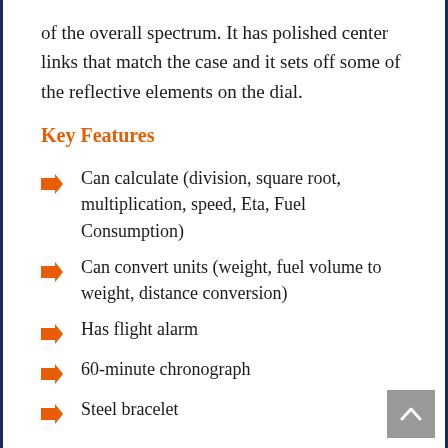of the overall spectrum. It has polished center links that match the case and it sets off some of the reflective elements on the dial.
Key Features
Can calculate (division, square root, multiplication, speed, Eta, Fuel Consumption)
Can convert units (weight, fuel volume to weight, distance conversion)
Has flight alarm
60-minute chronograph
Steel bracelet